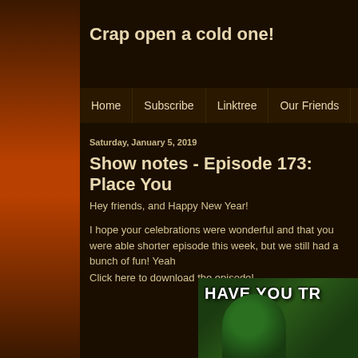Crap open a cold one!
Home | Subscribe | Linktree | Our Friends | Music
Saturday, January 5, 2019
Show notes - Episode 173: Place You
Hey friends, and Happy New Year!
I hope your celebrations were wonderful and that you were able shorter episode this week, but we still had a bunch of fun! Yeah
Click here to download the episode!
[Figure (photo): Meme image showing a person in a green helmet/mask with text 'HAVE YOU TR' visible]